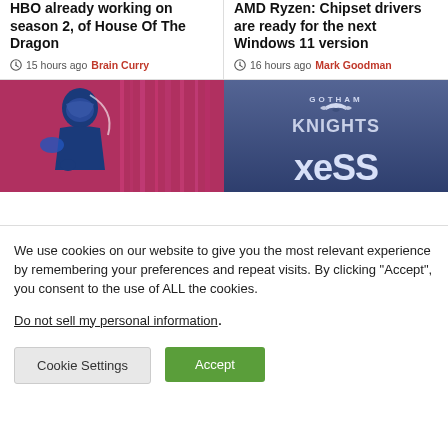HBO already working on season 2, of House Of The Dragon
15 hours ago  Brain Curry
AMD Ryzen: Chipset drivers are ready for the next Windows 11 version
16 hours ago  Mark Goodman
[Figure (photo): Gaming/esports themed image with pink and magenta tones, showing a character with VR or gaming gear]
[Figure (photo): Gotham Knights game logo on a blue/purple background with xeSS text visible at the bottom]
We use cookies on our website to give you the most relevant experience by remembering your preferences and repeat visits. By clicking “Accept”, you consent to the use of ALL the cookies.
Do not sell my personal information.
Cookie Settings
Accept